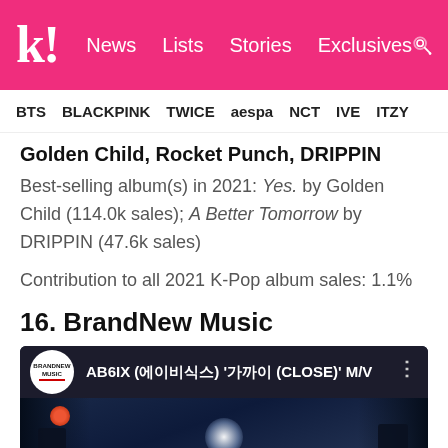k! News  Lists  Stories  Exclusives
BTS  BLACKPINK  TWICE  aespa  NCT  IVE  ITZY
Golden Child, Rocket Punch, DRIPPIN
Best-selling album(s) in 2021: Yes. by Golden Child (114.0k sales); A Better Tomorrow by DRIPPIN (47.6k sales)
Contribution to all 2021 K-Pop album sales: 1.1%
16. BrandNew Music
[Figure (screenshot): YouTube video thumbnail showing AB6IX (에이비식스) '가까이 (CLOSE)' M/V with BrandNew Music logo and a dark fantasy forest scene with figures]